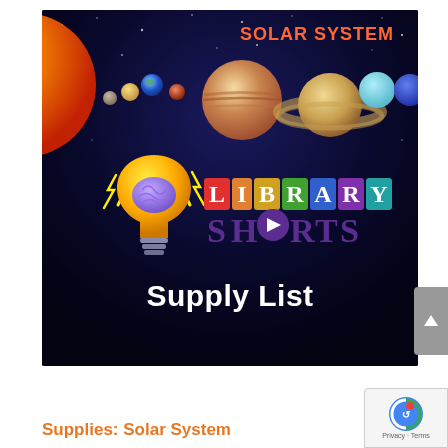[Figure (illustration): Library Shorts Supply List graphic for Solar System topic. Dark navy space background showing planets of the solar system lined up (sun, Mercury, Venus, Earth, Mars, Jupiter with rings-like Saturn, Saturn with rings, Uranus, Neptune). Text 'SOLAR SYSTEM' in orange at top right. A cartoon light bulb with a brain inside, surrounded by yellow lightning bolts on the left. Colorful block letters spelling 'LIBRARY' (each letter on a colored background) and 'SHORTS' in purple with a play button triangle. Below in white bold text: 'Supply List'.]
Supplies: Solar System